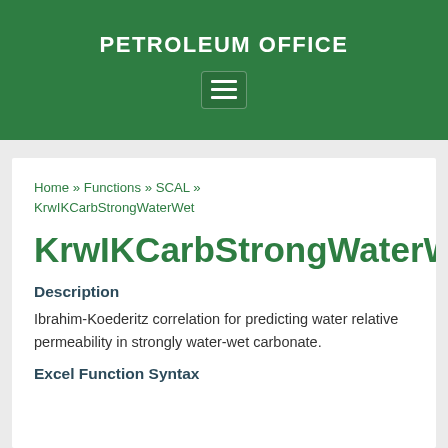PETROLEUM OFFICE
KrwIKCarbStrongWaterWet
Home » Functions » SCAL » KrwIKCarbStrongWaterWet
Description
Ibrahim-Koederitz correlation for predicting water relative permeability in strongly water-wet carbonate.
Excel Function Syntax